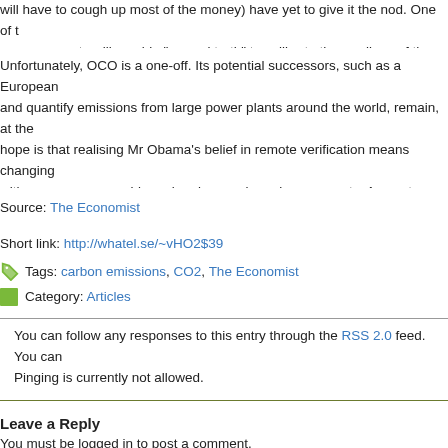will have to cough up most of the money) have yet to give it the nod. One of the measurements will provide "ground truth" to calibrate the readings of the reborn
Unfortunately, OCO is a one-off. Its potential successors, such as a European and quantify emissions from large power plants around the world, remain, at the hope is that realising Mr Obama's belief in remote verification means changing with numerous ground-based and space-based components. Accurate measur shame that so little attention has been paid to it in such an important field.
Source: The Economist
Short link: http://whatel.se/~vHO2$39
Tags: carbon emissions, CO2, The Economist
Category: Articles
You can follow any responses to this entry through the RSS 2.0 feed. You can Pinging is currently not allowed.
Leave a Reply
You must be logged in to post a comment.